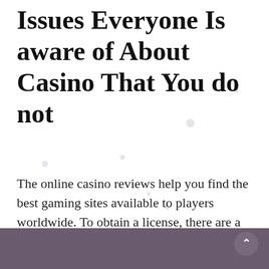Issues Everyone Is aware of About Casino That You do not
The online casino reviews help you find the best gaming sites available to players worldwide. To obtain a license, there are a few requirements that [...]
May 24, 2022 · 0 · 1 min read